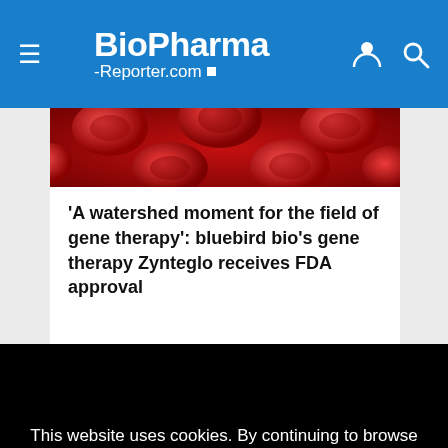BioPharma-Reporter.com
[Figure (photo): Red blood cells macro photograph, deep red background]
'A watershed moment for the field of gene therapy': bluebird bio's gene therapy Zynteglo receives FDA approval
[Figure (logo): WilliamReed. logo in bold serif font with yellow underline bar]
This website uses cookies. By continuing to browse our website, you are agreeing to our use of cookies. You can learn more about cookies by visiting our privacy & cookies policy page.